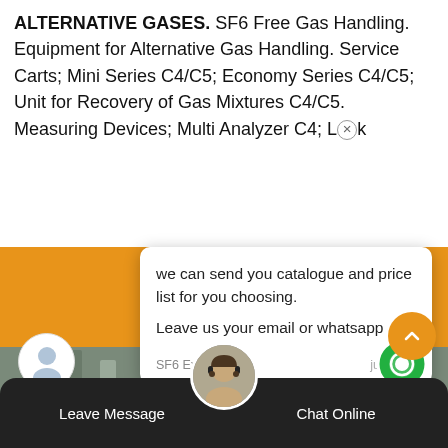ALTERNATIVE GASES. SF6 Free Gas Handling. Equipment for Alternative Gas Handling. Service Carts; Mini Series C4/C5; Economy Series C4/C5; Unit for Recovery of Gas Mixtures C4/C5. Measuring Devices; Multi Analyzer C4; Leak
[Figure (screenshot): Chat popup overlay on a website showing a message from SF6 Expert: 'we can send you catalogue and price list for you choosing. Leave us your email or whatsapp.' with a reply input box below. Orange banner background, industrial factory photo in lower portion, bottom navigation bar with Leave Message and Chat Online buttons, and a support agent avatar.]